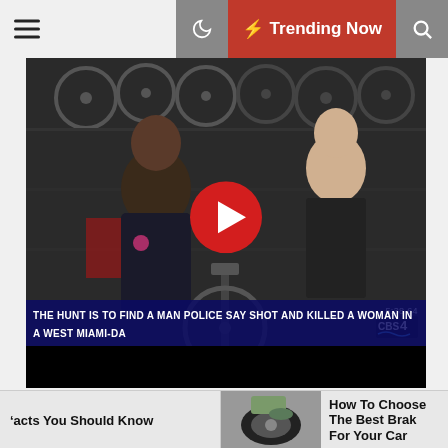[Figure (screenshot): Mobile website navigation bar with hamburger menu on left, moon/night mode icon, red Trending Now button with lightning bolt, and search icon on right]
[Figure (screenshot): CBS4 Miami news video thumbnail showing a woman in a bike shop being interviewed by a male reporter. YouTube play button overlay in center. CBS4 logo watermark at bottom right showing time 5:38 64. Breaking news ticker reads: THE HUNT IS TO FIND A MAN POLICE SAY SHOT AND KILLED A WOMAN IN A WEST MIAMI-DA]
RRX SUV STOLEN — If you see/hear
facts You Should Know
[Figure (photo): Small thumbnail photo of a car wheel/brake]
How To Choose The Best Brake For Your Car